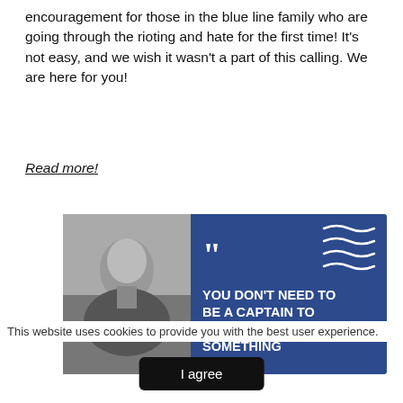encouragement for those in the blue line family who are going through the rioting and hate for the first time! It's not easy, and we wish it wasn't a part of this calling. We are here for you!
Read more!
[Figure (illustration): A dark blue banner with a grayscale photo of a person (seen from behind) on the left, large white closing quotation marks, and bold white uppercase text reading 'YOU DON'T NEED TO BE A CAPTAIN TO IMPLEMENT SOMETHING' with white wave decorations in the top right corner.]
This website uses cookies to provide you with the best user experience.
I agree